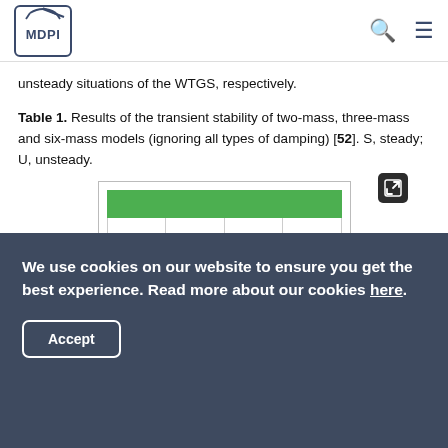MDPI
unsteady situations of the WTGS, respectively.
Table 1. Results of the transient stability of two-mass, three-mass and six-mass models (ignoring all types of damping) [52]. S, steady; U, unsteady.
[Figure (table-as-image): Partially visible table with green header row and 4 columns, 5 rows of data (content not readable in thumbnail)]
We use cookies on our website to ensure you get the best experience. Read more about our cookies here.
Accept